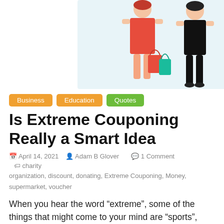[Figure (illustration): Illustration of two people shopping: a woman in a red dress holding shopping bags (red and teal) and a man in black clothing, on a light blue background.]
Business   Education   Quotes
Is Extreme Couponing Really a Smart Idea
April 14, 2021   Adam B Glover   1 Comment   charity organization, discount, donating, Extreme Couponing, Money, supermarket, voucher
When you hear the word “extreme”, some of the things that might come to your mind are “sports”, “weather”, and “situations”. However, there is an additional thing that a lot of people often forget about, something that could help them save a lot of money while shopping – extreme couponing.